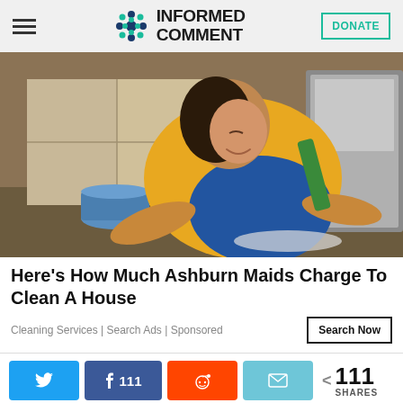INFORMED COMMENT
[Figure (photo): A woman in a yellow polo shirt and blue apron cleaning a kitchen floor, leaning forward with a cloth. A blue trash can is visible in the background near kitchen cabinets and a stainless steel appliance.]
Here's How Much Ashburn Maids Charge To Clean A House
Cleaning Services | Search Ads | Sponsored
Search Now
111 SHARES